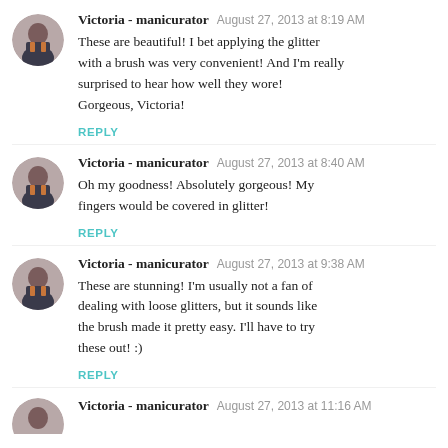Victoria - manicurator  August 27, 2013 at 8:19 AM
These are beautiful! I bet applying the glitter with a brush was very convenient! And I'm really surprised to hear how well they wore! Gorgeous, Victoria!
REPLY
Victoria - manicurator  August 27, 2013 at 8:40 AM
Oh my goodness! Absolutely gorgeous! My fingers would be covered in glitter!
REPLY
Victoria - manicurator  August 27, 2013 at 9:38 AM
These are stunning! I'm usually not a fan of dealing with loose glitters, but it sounds like the brush made it pretty easy. I'll have to try these out! :)
REPLY
Victoria - manicurator  August 27, 2013 at 11:16 AM